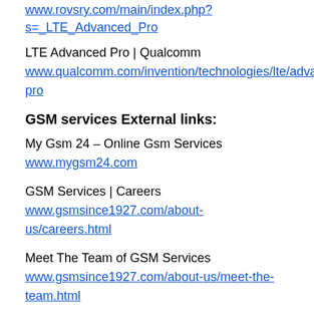www.rovsry.com/main/index.php?s=_LTE_Advanced_Pro (link at top, truncated)
LTE Advanced Pro | Qualcomm
www.qualcomm.com/invention/technologies/lte/advanced-pro
GSM services External links:
My Gsm 24 – Online Gsm Services
www.mygsm24.com
GSM Services | Careers
www.gsmsince1927.com/about-us/careers.html
Meet The Team of GSM Services
www.gsmsince1927.com/about-us/meet-the-team.html
Mobile VoIP External links:
Mobile VoiceI Mobile Voice app for iPhone, Android...